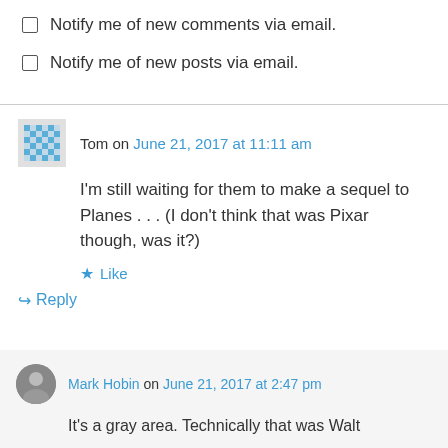Notify me of new comments via email.
Notify me of new posts via email.
Tom on June 21, 2017 at 11:11 am
I'm still waiting for them to make a sequel to Planes . . . (I don't think that was Pixar though, was it?)
Like
Reply
Mark Hobin on June 21, 2017 at 2:47 pm
It's a gray area. Technically that was Walt